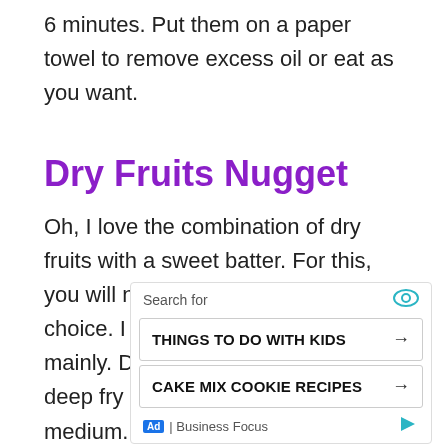6 minutes. Put them on a paper towel to remove excess oil or eat as you want.
Dry Fruits Nugget
Oh, I love the combination of dry fruits with a sweet batter. For this, you will need lots of dry fruits of your choice. I use cashew and almonds mainly. Dip them in the batter and deep fry keeping the flame to low or medium.
[Figure (other): Advertisement widget with search label, eye icon, two search result items 'THINGS TO DO WITH KIDS' and 'CAKE MIX COOKIE RECIPES' each with arrow buttons, and footer with Ad badge and Business Focus label]